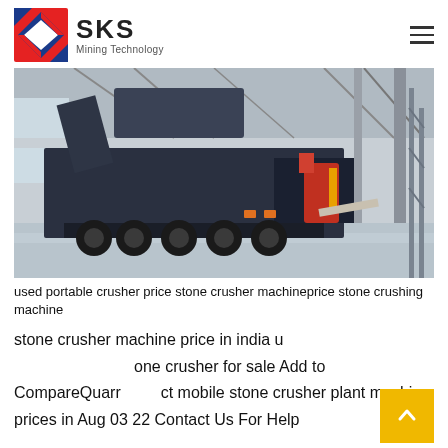SKS Mining Technology
[Figure (photo): A large mobile stone crusher machine on a flatbed truck inside an industrial warehouse/factory hall with steel structure roof and yellow/red equipment in the background.]
used portable crusher price stone crusher machineprice stone crushing machine
stone crusher machine price in india used portable stone crusher for sale Add to CompareQuarry impact mobile stone crusher plant machine prices in Aug 03 22 Contact Us For Help